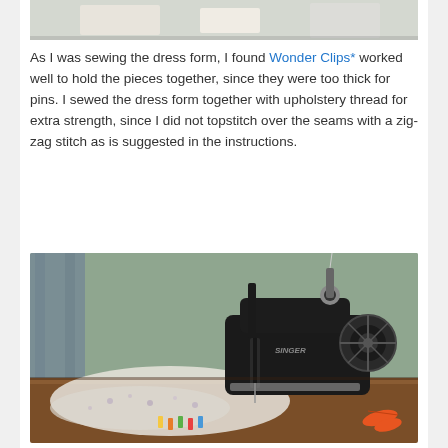[Figure (photo): Top portion of a photo visible at the top of the page, cropped]
As I was sewing the dress form, I found Wonder Clips* worked well to hold the pieces together, since they were too thick for pins. I sewed the dress form together with upholstery thread for extra strength, since I did not topstitch over the seams with a zig-zag stitch as is suggested in the instructions.
[Figure (photo): A vintage Singer sewing machine on a wooden table with fabric, colorful clips, scissors (orange handle), set against a sage-green wall with gray curtain on the left]